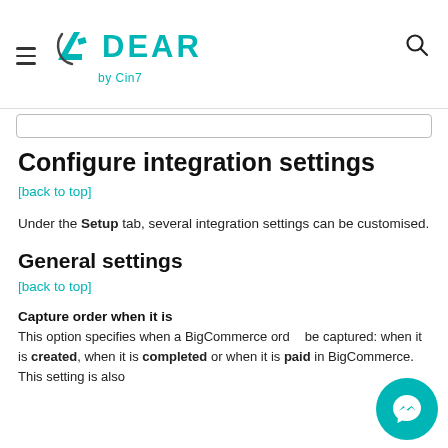DEAR by Cin7 logo header with hamburger menu and search icon
Configure integration settings
[back to top]
Under the Setup tab, several integration settings can be customised.
General settings
[back to top]
Capture order when it is
This option specifies when a BigCommerce order be captured: when it is created, when it is completed or when it is paid in BigCommerce. This setting is also